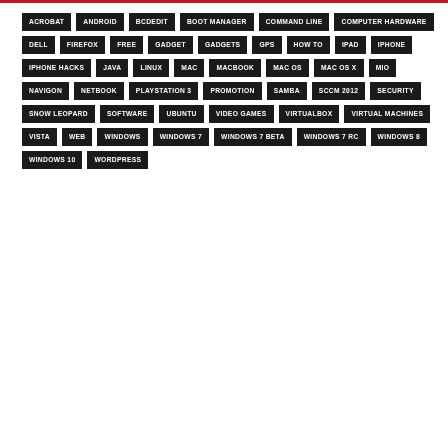ACROBAT
ANDROID
BCDEDIT
BOOT MANAGER
COMMAND LINE
COMPUTER HARDWARE
DELL
FIREFOX
FREE
GADGET
GADGETS
GPS
HOW TO
IPAD
IPHONE
IPHONE HACKS
JAVA
LINUX
MAC
MACBOOK
MAC OS
MAC OS X
MIO
NAVIGON
NETBOOK
PLAYSTATION 3
PROMOTION
SAMBA
SCCM 2012
SECURITY
SNOW LEOPARD
SOFTWARE
UBUNTU
VIDEO GAMES
VIRTUALBOX
VIRTUAL MACHINES
VISTA
WEB
WINDOWS
WINDOWS 7
WINDOWS 7 BETA
WINDOWS 7 RC
WINDOWS 8
WINDOWS 10
WORDPRESS